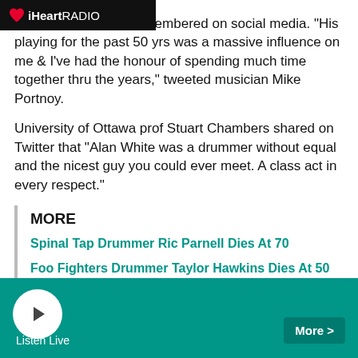iHeartRADIO
emembered on social media. "His playing for the past 50 yrs was a massive influence on me & I've had the honour of spending much time together thru the years," tweeted musician Mike Portnoy.
University of Ottawa prof Stuart Chambers shared on Twitter that "Alan White was a drummer without equal and the nicest guy you could ever meet. A class act in every respect."
MORE
Spinal Tap Drummer Ric Parnell Dies At 70
Foo Fighters Drummer Taylor Hawkins Dies At 50
Rolling Stones Drummer Charlie Watts Dies At 80
Born in England, White was playing in a band by the time he was 13. He shelved a plan to become an architect when, at 1… was chosen to tour in the Gamblers and record with
Listen Live  More >